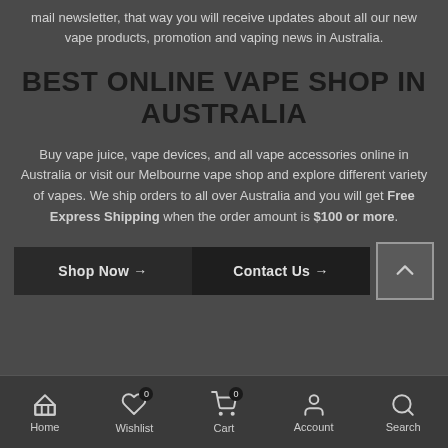mail newsletter, that way you will receive updates about all our new vape products, promotion and vaping news in Australia.
BEST ONLINE VAPE SHOP IN AUSTRALIA
Buy vape juice, vape devices, and all vape accessories online in Australia or visit our Melbourne vape shop and explore different variety of vapes. We ship orders to all over Australia and you will get Free Express Shipping when the order amount is $100 or more.
Shop Now → | Contact Us →
Home | Wishlist 0 | Cart 0 | Account | Search